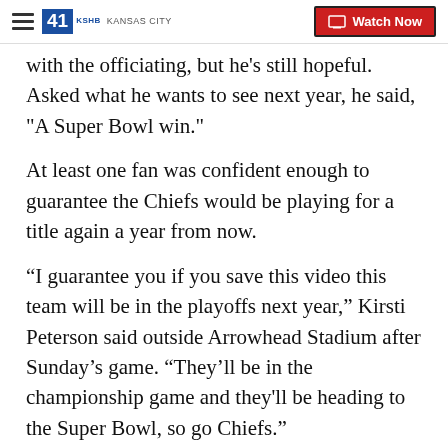41 KSHB KANSAS CITY | Watch Now
with the officiating, but he's still hopeful. Asked what he wants to see next year, he said, "A Super Bowl win."
At least one fan was confident enough to guarantee the Chiefs would be playing for a title again a year from now.
“I guarantee you if you save this video this team will be in the playoffs next year,” Kirsti Peterson said outside Arrowhead Stadium after Sunday’s game. “They’ll be in the championship game and they'll be heading to the Super Bowl, so go Chiefs.”
Of course, Super Bowl LIII must be played first in two weeks in Atlanta between the Patriots and Los Angeles